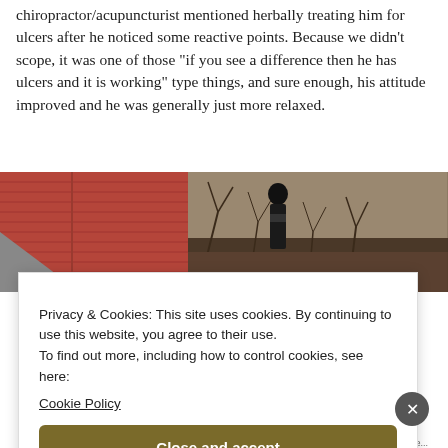chiropractor/acupuncturist mentioned herbally treating him for ulcers after he noticed some reactive points. Because we didn't scope, it was one of those "if you see a difference then he has ulcers and it is working" type things, and sure enough, his attitude improved and he was generally just more relaxed.
[Figure (photo): Outdoor photo showing a red barn on the left and a person wearing a dark hat and scarf standing among bare winter trees on the right.]
Privacy & Cookies: This site uses cookies. By continuing to use this website, you agree to their use.
To find out more, including how to control cookies, see here:
Cookie Policy
Close and accept